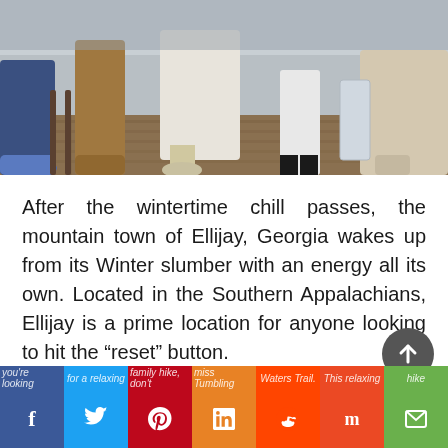[Figure (photo): Photo of people's legs and feet in a social/indoor setting, visible from roughly the waist down, standing on a wooden floor]
After the wintertime chill passes, the mountain town of Ellijay, Georgia wakes up from its Winter slumber with an energy all its own. Located in the Southern Appalachians, Ellijay is a prime location for anyone looking to hit the “reset” button.
Known as Georgia’s Mountain Biking Capital, Ellijay is home to endless mountain trails perfect for bikers and hikers of all skill levels. If you’re looking for a relaxing family hike, don’t miss Tumbling Waters Trail. This relaxing hike
f  ✓  ♥  in  ☺  m  ✉